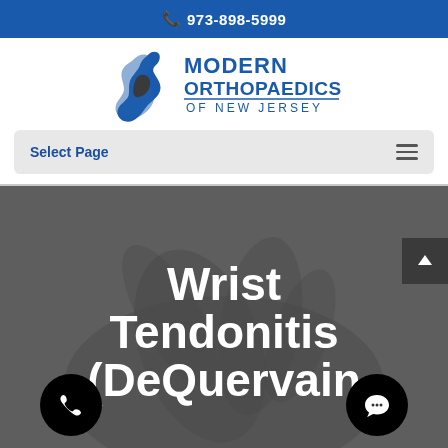📞 973-898-5999
[Figure (logo): Modern Orthopaedics of New Jersey logo with a blue NJ state figure and text]
Select Page
Wrist Tendonitis (DeQuervain